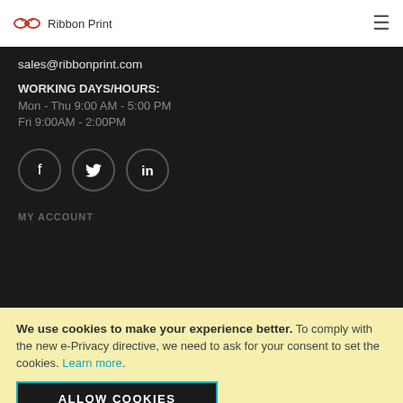Ribbon Print
sales@ribbonprint.com
WORKING DAYS/HOURS:
Mon - Thu 9:00 AM - 5:00 PM
Fri 9:00AM - 2:00PM
[Figure (other): Social media icons: Facebook (f), Twitter (bird), LinkedIn (in) — each in a dark circle outline]
MY ACCOUNT
We use cookies to make your experience better. To comply with the new e-Privacy directive, we need to ask for your consent to set the cookies. Learn more.
ALLOW COOKIES